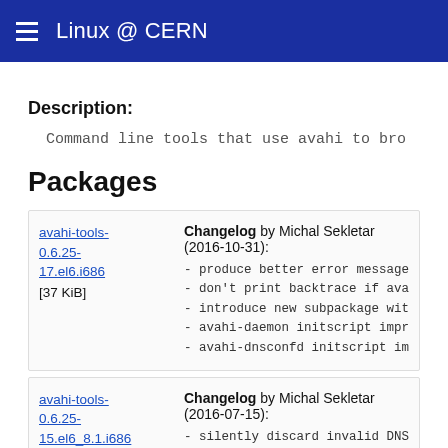Linux @ CERN
Description:
Command line tools that use avahi to bro
Packages
avahi-tools-0.6.25-17.el6.i686 [37 KiB] — Changelog by Michal Sekletar (2016-10-31): - produce better error message when d - don't print backtrace if avahi-disc - introduce new subpackage with pytho - avahi-daemon initscript improvement - avahi-dnsconfd initscript improveme
avahi-tools-0.6.25-15.el6_8.1.i686 — Changelog by Michal Sekletar (2016-07-15): - silently discard invalid DNS respon